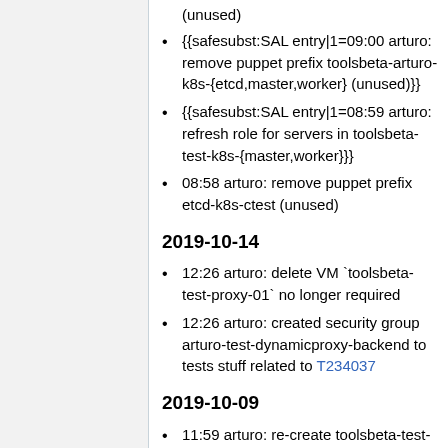(unused)
{{safesubst:SAL entry|1=09:00 arturo: remove puppet prefix toolsbeta-arturo-k8s-{etcd,master,worker} (unused)}}
{{safesubst:SAL entry|1=08:59 arturo: refresh role for servers in toolsbeta-test-k8s-{master,worker}}}
08:58 arturo: remove puppet prefix etcd-k8s-ctest (unused)
2019-10-14
12:26 arturo: delete VM `toolsbeta-test-proxy-01` no longer required
12:26 arturo: created security group arturo-test-dynamicproxy-backend to tests stuff related to T234037
2019-10-09
11:59 arturo: re-create toolsbeta-test-